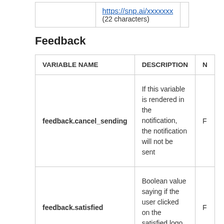|  | DESCRIPTION | N |
| --- | --- | --- |
|  | https://snp.ai/xxxxxxx
(22 characters) |  |
Feedback
| VARIABLE NAME | DESCRIPTION | N |
| --- | --- | --- |
| feedback.cancel_sending | If this variable is rendered in the notification, the notification will not be sent | F |
| feedback.satisfied | Boolean value saying if the user clicked on the satisfied logo or not | F |
| feedback.score | NPS filled up by the | F |